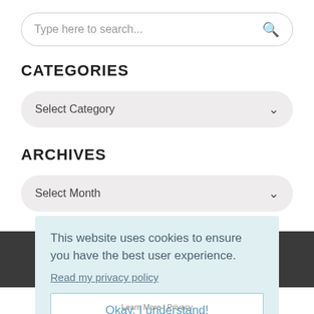Type here to search...
CATEGORIES
Select Category
ARCHIVES
Select Month
This website uses cookies to ensure you have the best user experience.
Read my privacy policy
Okay, I understand!
Learn More | Privacy